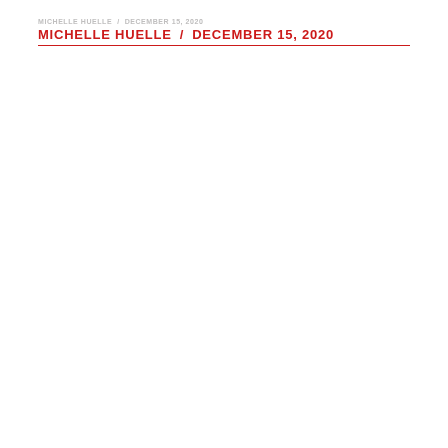MICHELLE HUELLE / DECEMBER 15, 2020